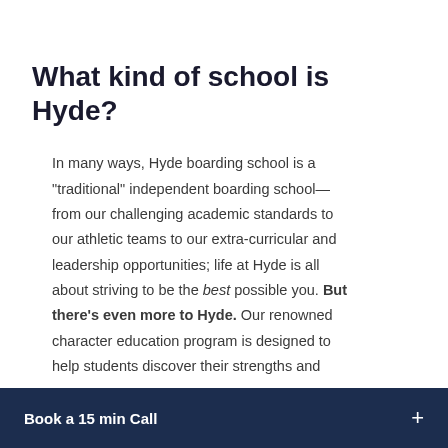What kind of school is Hyde?
In many ways, Hyde boarding school is a "traditional" independent boarding school—from our challenging academic standards to our athletic teams to our extra-curricular and leadership opportunities; life at Hyde is all about striving to be the best possible you. But there's even more to Hyde. Our renowned character education program is designed to help students discover their strengths and
Book a 15 min Call +